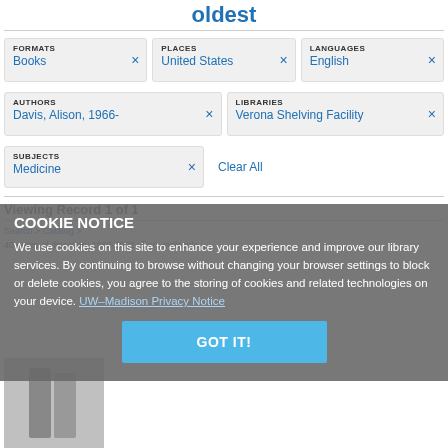oldest
FORMATS Books × | PLACES United States × | LANGUAGES English ×
AUTHORS Davis, Alison, 1966- × | LIBRARIES Verona Shelving Facility ×
SUBJECTS Medicine × Clear All
Viewing Record 1 of 1
Search > Catalog >
40 years of discovery 1962-2002 : from molecule...
COOKIE NOTICE We use cookies on this site to enhance your experience and improve our library services. By continuing to browse without changing your browser settings to block or delete cookies, you agree to the storing of cookies and related technologies on your device. UW–Madison Privacy Notice
GOT IT!